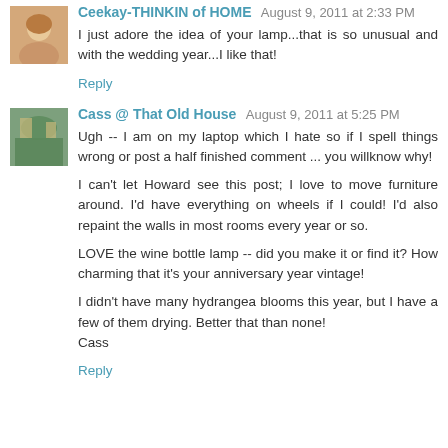Ceekay-THINKIN of HOME August 9, 2011 at 2:33 PM
I just adore the idea of your lamp...that is so unusual and with the wedding year...I like that!
Reply
Cass @ That Old House August 9, 2011 at 5:25 PM
Ugh -- I am on my laptop which I hate so if I spell things wrong or post a half finished comment ... you willknow why!
I can't let Howard see this post; I love to move furniture around. I'd have everything on wheels if I could! I'd also repaint the walls in most rooms every year or so.
LOVE the wine bottle lamp -- did you make it or find it? How charming that it's your anniversary year vintage!
I didn't have many hydrangea blooms this year, but I have a few of them drying. Better that than none!
Cass
Reply